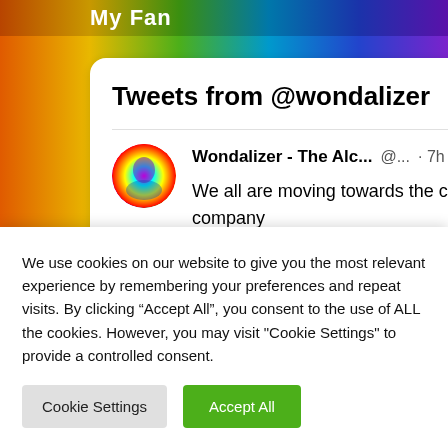My Fan
[Figure (screenshot): Twitter widget showing tweets from @wondalizer. Header shows 'Tweets from @wondalizer' with a Follow button. Tweet from 'Wondalizer - The Alc... @... · 7h' reads: 'We all are moving towards the cold war, the winter not anticipated by anyone even Tesla company

Biden, all he does is to condemn himself bring zero worth, you would know what Trump would do in same matter']
We use cookies on our website to give you the most relevant experience by remembering your preferences and repeat visits. By clicking “Accept All”, you consent to the use of ALL the cookies. However, you may visit "Cookie Settings" to provide a controlled consent.
Cookie Settings
Accept All